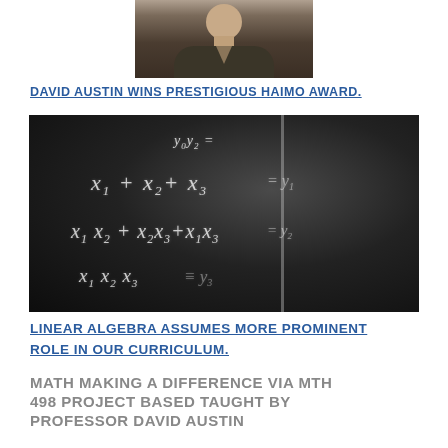[Figure (photo): Portrait photo of a person wearing a dark sweater, cropped at upper portion, centered at top of page]
DAVID AUSTIN WINS PRESTIGIOUS HAIMO AWARD.
[Figure (photo): Photo of a chalkboard with mathematical equations written in chalk, including expressions like x1 + x2 + x3 = ..., x1*x2 + x2*x3 + x1*x3 = ..., x1*x2*x3 = ...]
LINEAR ALGEBRA ASSUMES MORE PROMINENT ROLE IN OUR CURRICULUM.
MATH MAKING A DIFFERENCE VIA MTH 498 PROJECT BASED TAUGHT BY PROFESSOR DAVID AUSTIN